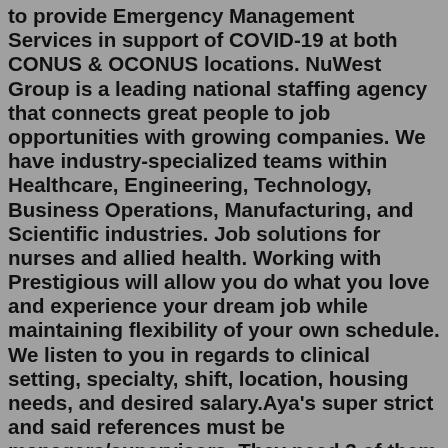to provide Emergency Management Services in support of COVID-19 at both CONUS & OCONUS locations. NuWest Group is a leading national staffing agency that connects great people to job opportunities with growing companies. We have industry-specialized teams within Healthcare, Engineering, Technology, Business Operations, Manufacturing, and Scientific industries. Job solutions for nurses and allied health. Working with Prestigious will allow you do what you love and experience your dream job while maintaining flexibility of your own schedule. We listen to you in regards to clinical setting, specialty, shift, location, housing needs, and desired salary.Aya's super strict and said references must be managers/supervisors. They need 3 of them and will call when they feel like it. 1. level 1. · 9 mo. ago. Nomad says that, but I don't think they always mean it. Currently, my references are one DON and 2 charge nurses. They email a questionnaire. You don't have to use your manager, you can put ...Reston, VA Estimated $54.5K - $69.1K a year Full-time